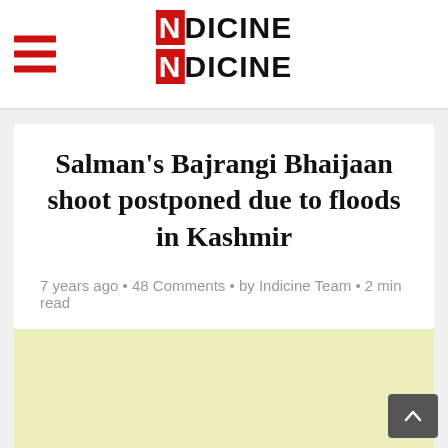Indicine
Salman's Bajrangi Bhaijaan shoot postponed due to floods in Kashmir
7 years ago · 48 Comments · by Indicine Team · 2 min read
[Figure (other): Yellow advertisement placeholder area]